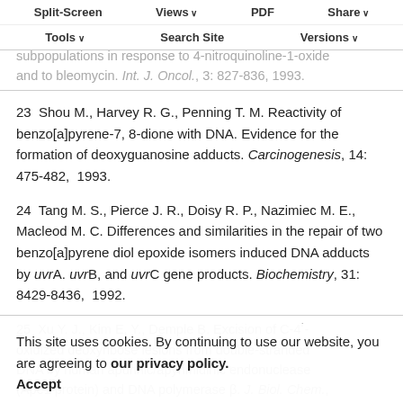Split-Screen | Views | PDF | Share | Tools | Search Site | Versions
L., Furlong C. L., Schantz S. P., Weber R. S., Shen T. J., Kucak C. Differential sensitivity among three human subpopulations in response to 4-nitroquinoline-1-oxide and to bleomycin. Int. J. Oncol., 3: 827-836, 1993.
23  Shou M., Harvey R. G., Penning T. M. Reactivity of benzo[a]pyrene-7, 8-dione with DNA. Evidence for the formation of deoxyguanosine adducts. Carcinogenesis, 14: 475-482, 1993.
24  Tang M. S., Pierce J. R., Doisy R. P., Nazimiec M. E., Macleod M. C. Differences and similarities in the repair of two benzo[a]pyrene diol epoxide isomers induced DNA adducts by uvrA. uvrB, and uvrC gene products. Biochemistry, 31: 8429-8436, 1992.
25  Xu Y. J., Kim E. Y., Demple B. Excision of C-4'-oxidized deoxyribose lesions from double-stranded DNA by human apurinic/apyrimidinic endonuclease (Ape1 protein) and DNA polymerase β. J. Biol. Chem.,
This site uses cookies. By continuing to use our website, you are agreeing to our privacy policy. Accept